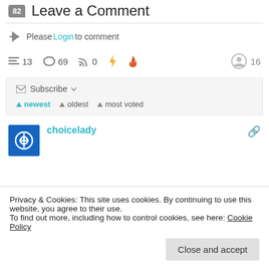82  Leave a Comment
Please Login to comment
13  69  0  (bolt icon) (flame icon)  16
Subscribe ▾
▲ newest  ▲ oldest  ▲ most voted
choicelady
Privacy & Cookies: This site uses cookies. By continuing to use this website, you agree to their use.
To find out more, including how to control cookies, see here: Cookie Policy
Close and accept